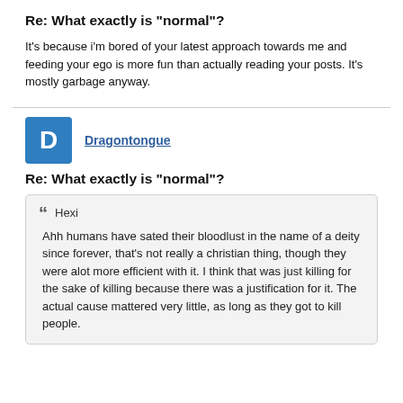Re: What exactly is "normal"?
It's because i'm bored of your latest approach towards me and feeding your ego is more fun than actually reading your posts. It's mostly garbage anyway.
[Figure (other): User avatar with letter D in blue square for user Dragontongue]
Dragontongue
Re: What exactly is "normal"?
Hexi
Ahh humans have sated their bloodlust in the name of a deity since forever, that's not really a christian thing, though they were alot more efficient with it. I think that was just killing for the sake of killing because there was a justification for it. The actual cause mattered very little, as long as they got to kill people.